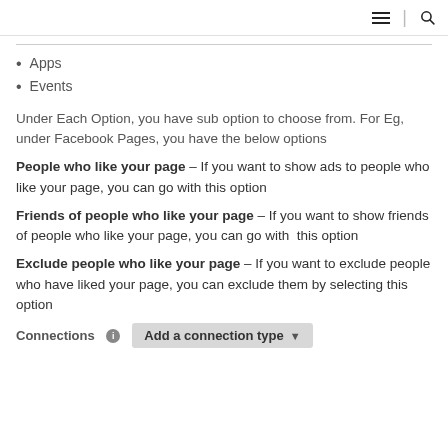≡ | 🔍
Apps
Events
Under Each Option, you have sub option to choose from. For Eg, under Facebook Pages, you have the below options
People who like your page – If you want to show ads to people who like your page, you can go with this option
Friends of people who like your page – If you want to show friends of people who like your page, you can go with this option
Exclude people who like your page – If you want to exclude people who have liked your page, you can exclude them by selecting this option
Connections  Add a connection type